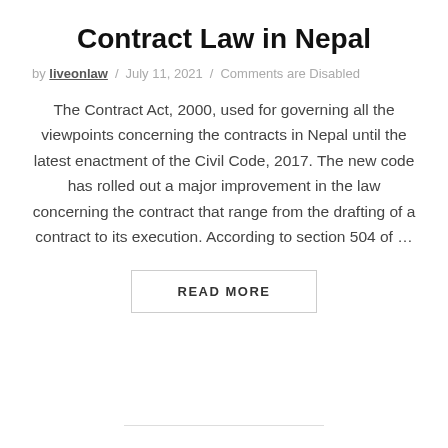Contract Law in Nepal
by liveonlaw / July 11, 2021 / Comments are Disabled
The Contract Act, 2000, used for governing all the viewpoints concerning the contracts in Nepal until the latest enactment of the Civil Code, 2017. The new code has rolled out a major improvement in the law concerning the contract that range from the drafting of a contract to its execution. According to section 504 of …
READ MORE